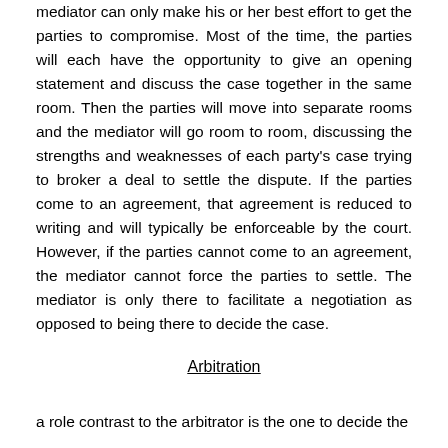mediator can only make his or her best effort to get the parties to compromise. Most of the time, the parties will each have the opportunity to give an opening statement and discuss the case together in the same room. Then the parties will move into separate rooms and the mediator will go room to room, discussing the strengths and weaknesses of each party's case trying to broker a deal to settle the dispute. If the parties come to an agreement, that agreement is reduced to writing and will typically be enforceable by the court. However, if the parties cannot come to an agreement, the mediator cannot force the parties to settle. The mediator is only there to facilitate a negotiation as opposed to being there to decide the case.
Arbitration
a role contrast to the arbitrator is the one to decide the